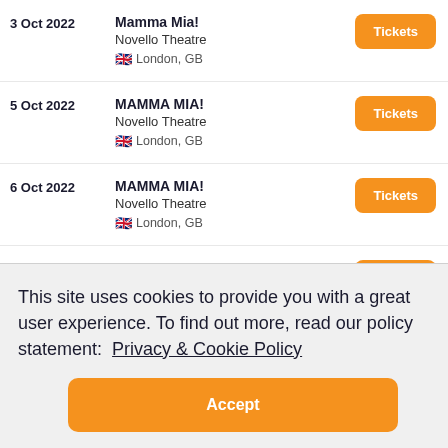3 Oct 2022 — Mamma Mia! — Novello Theatre — London, GB — Tickets
5 Oct 2022 — MAMMA MIA! — Novello Theatre — London, GB — Tickets
6 Oct 2022 — MAMMA MIA! — Novello Theatre — London, GB — Tickets
7 Oct 2022 — MAMMA MIA! — Novello Theatre — London, GB — Tickets
This site uses cookies to provide you with a great user experience. To find out more, read our policy statement: Privacy & Cookie Policy
Accept